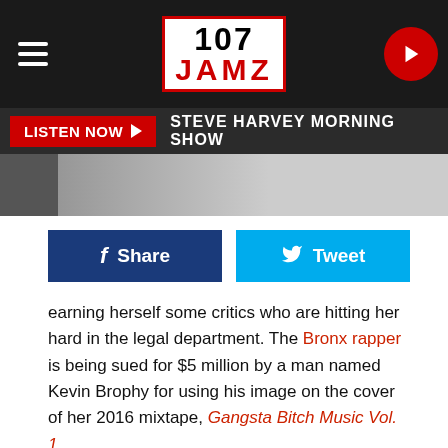107 JAMZ
[Figure (logo): 107 JAMZ radio station logo in red and black border]
LISTEN NOW ▶  STEVE HARVEY MORNING SHOW
[Figure (infographic): Share and Tweet social media buttons]
earning herself some critics who are hitting her hard in the legal department. The Bronx rapper is being sued for $5 million by a man named Kevin Brophy for using his image on the cover of her 2016 mixtape, Gangsta Bitch Music Vol. 1.
According to TMZ, Brophy claims that he is the guy going down on Cardi to perform oral sex on the cover of the project, showing off only his back tattoos which feature a lion going after a snake. He says that he never signed off on